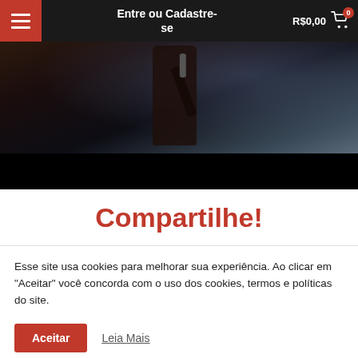Entre ou Cadastre-se | R$0,00
[Figure (photo): Concert photo showing a musician performing on stage with dark background and spotlight effects]
Compartilhe!
Esse site usa cookies para melhorar sua experiência. Ao clicar em "Aceitar" você concorda com o uso dos cookies, termos e políticas do site.
Aceitar   Leia Mais